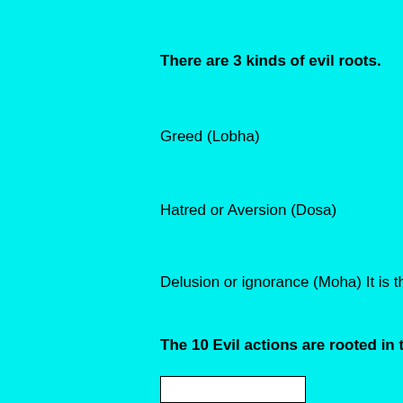There are 3 kinds of evil roots.
Greed (Lobha)
Hatred or Aversion (Dosa)
Delusion or ignorance (Moha) It is the r
The 10 Evil actions are rooted in these